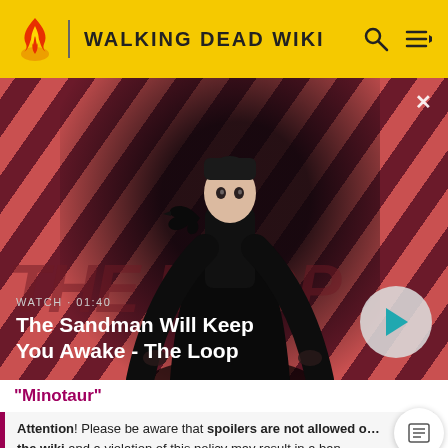WALKING DEAD WIKI
[Figure (photo): Video banner showing a dark-cloaked figure with a raven on their shoulder against a red/dark diagonal stripe background. Text overlay: WATCH · 01:40 / The Sandman Will Keep You Awake - The Loop. Play button on right.]
"Minotaur"
Attention! Please be aware that spoilers are not allowed on the wiki and a violation of this policy may result in a ban.
READ MORE